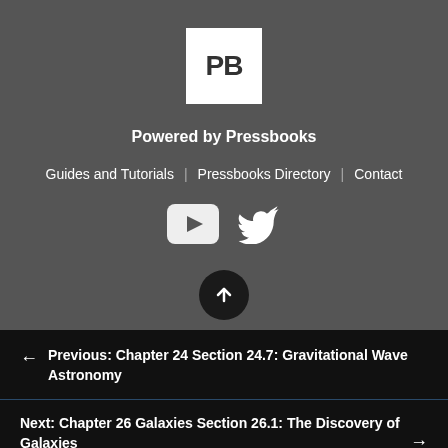[Figure (logo): Pressbooks logo: white square with dark letters PB]
Powered by Pressbooks
Guides and Tutorials  |  Pressbooks Directory  |  Contact
[Figure (illustration): YouTube and Twitter social media icons in white]
[Figure (illustration): Back to top button: dark circle with upward arrow]
← Previous: Chapter 24 Section 24.7: Gravitational Wave Astronomy
Next: Chapter 26 Galaxies Section 26.1: The Discovery of Galaxies →